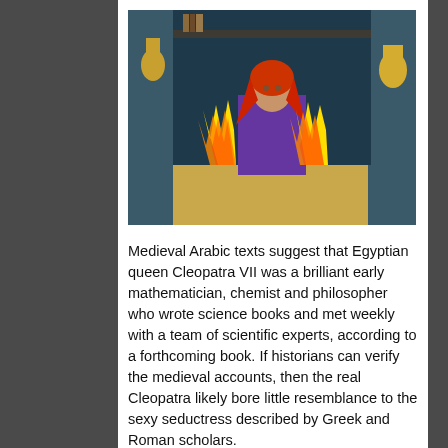[Figure (photo): Still from a film showing a woman in ancient Egyptian costume (red/orange headscarf, purple dress) seated between two large flames in an ornate set]
Medieval Arabic texts suggest that Egyptian queen Cleopatra VII was a brilliant early mathematician, chemist and philosopher who wrote science books and met weekly with a team of scientific experts, according to a forthcoming book. If historians can verify the medieval accounts, then the real Cleopatra likely bore little resemblance to the sexy seductress described by Greek and Roman scholars.
The book, "Egyptology: The Missing Millennium, Ancient Egypt in Medieval Arabic Writings," will be published in January by the University College London Press. For the book, author Okasha El